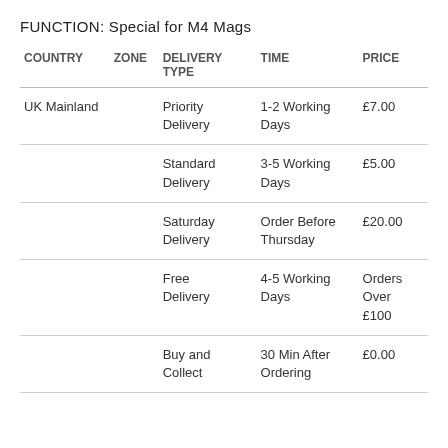FUNCTION: Special for M4 Mags
| COUNTRY | ZONE | DELIVERY TYPE | TIME | PRICE |
| --- | --- | --- | --- | --- |
| UK Mainland |  | Priority Delivery | 1-2 Working Days | £7.00 |
|  |  | Standard Delivery | 3-5 Working Days | £5.00 |
|  |  | Saturday Delivery | Order Before Thursday | £20.00 |
|  |  | Free Delivery | 4-5 Working Days | Orders Over £100 |
|  |  | Buy and Collect | 30 Min After Ordering | £0.00 |